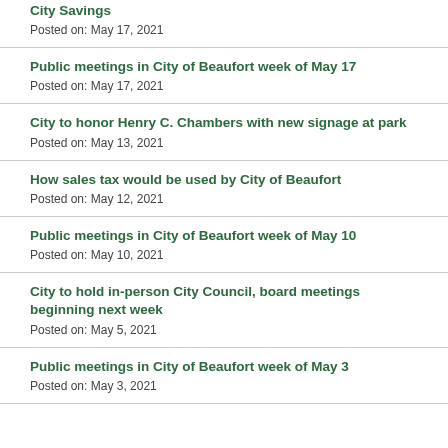City Savings
Posted on: May 17, 2021
Public meetings in City of Beaufort week of May 17
Posted on: May 17, 2021
City to honor Henry C. Chambers with new signage at park
Posted on: May 13, 2021
How sales tax would be used by City of Beaufort
Posted on: May 12, 2021
Public meetings in City of Beaufort week of May 10
Posted on: May 10, 2021
City to hold in-person City Council, board meetings beginning next week
Posted on: May 5, 2021
Public meetings in City of Beaufort week of May 3
Posted on: May 3, 2021